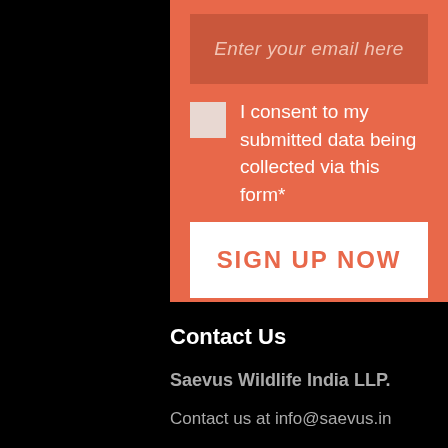Enter your email here
I consent to my submitted data being collected via this form*
SIGN UP NOW
we respect your privacy and take protecting it seriously
Contact Us
Saevus Wildlife India LLP.
Contact us at info@saevus.in